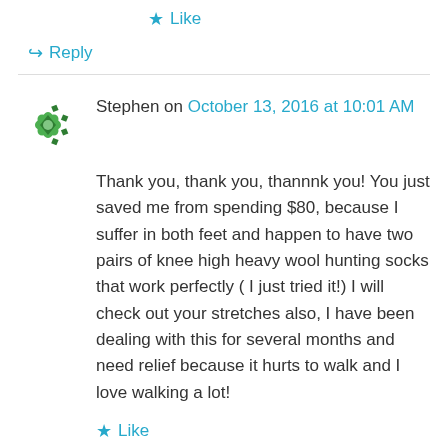★ Like
↪ Reply
Stephen on October 13, 2016 at 10:01 AM
Thank you, thank you, thannnk you! You just saved me from spending $80, because I suffer in both feet and happen to have two pairs of knee high heavy wool hunting socks that work perfectly ( I just tried it!) I will check out your stretches also, I have been dealing with this for several months and need relief because it hurts to walk and I love walking a lot!
★ Like
↪ Reply